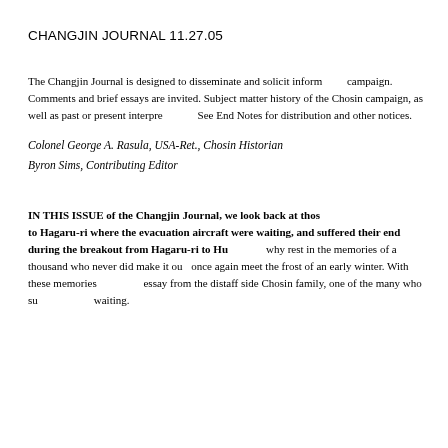CHANGJIN JOURNAL 11.27.05
The Changjin Journal is designed to disseminate and solicit information about the Chosin campaign. Comments and brief essays are invited. Subject matter can include any aspect of the history of the Chosin campaign, as well as past or present interpretations. See End Notes for distribution and other notices.
Colonel George A. Rasula, USA-Ret., Chosin Historian
Byron Sims, Contributing Editor
IN THIS ISSUE of the Changjin Journal, we look back at those who were flown out to Hagaru-ri where the evacuation aircraft were waiting, and those who suffered their end during the breakout from Hagaru-ri to Hungnam. why rest in the memories of a thousand who never did make it out, as we once again meet the frost of an early winter. With these memories comes an essay from the distaff side Chosin family, one of the many who suffered while waiting.